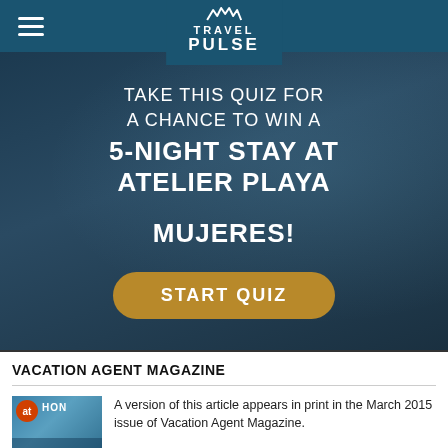TravelPulse navigation bar with hamburger menu and logo
[Figure (infographic): Travel Pulse promotional advertisement: Take this quiz for a chance to win a 5-night stay at Atelier Playa Mujeres! with a gold START QUIZ button, dark blue overlay background]
VACATION AGENT MAGAZINE
[Figure (photo): Magazine cover showing coastal scenery with text ON THE and at logo, PICTURE PERFECT caption at bottom]
A version of this article appears in print in the March 2015 issue of Vacation Agent Magazine.
SUBSCRIBE